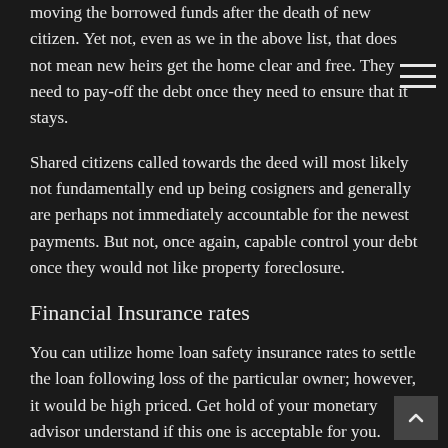moving the borrowed funds after the death of new citizen. Yet not, even as we in the above list, that does not mean new heirs get the home clear and free. They need to pay-off the debt once they need to ensure that it stays.
Shared citizens called towards the deed will most likely not fundamentally end up being cosigners and generally are perhaps not immediately accountable for the newest payments. But not, once again, capable control your debt once they would not like property foreclosure.
Financial Insurance rates
You can utilize home loan safety insurance rates to settle the loan following loss of the particular owner; however, it would be high priced. Get hold of your monetary advisor understand if this one is acceptable for you.